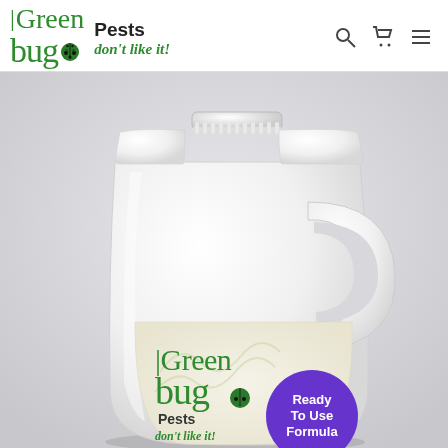Greenbug Pests don't like it! [logo with search, cart, menu icons]
[Figure (photo): A large white plastic jug/bottle with a handle and white screw cap, bearing the Greenbug 'Pests don't like it!' label. A purple circular badge reads 'Ready To Use Formula'. The background is light grey. The bottom of the bottle label shows the Greenbug logo and tagline text partially visible.]